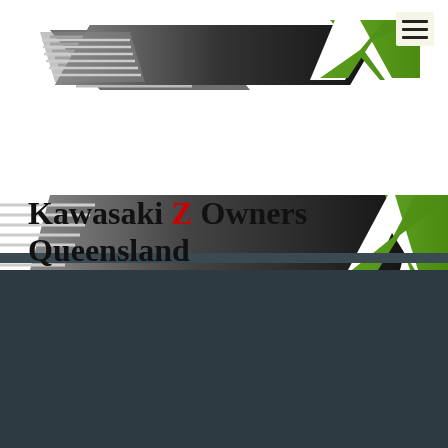[Figure (logo): Kawasaki Z Owners Queensland club logo — two overlapping parallelogram shapes with horizontal white stripes on left (grey/white striped panel) blending into dark charcoal, with a green accent parallelogram on the right side, forming a stylized Z shape]
Kawasaki Z Owners Queensland
[Figure (logo): Smaller version of the same Kawasaki Z Owners Queensland logo parallelogram graphic behind the title text]
Welcome to the Kawasaki Z Owners Queensland
Our club is based on the classic Kawasaki Z900, Z1000 and Z1R series motorbikes.